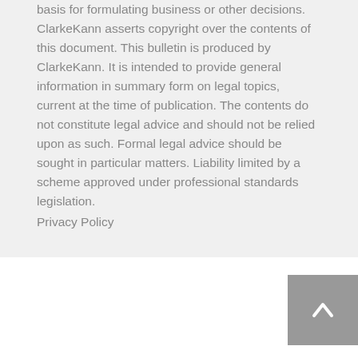basis for formulating business or other decisions. ClarkeKann asserts copyright over the contents of this document. This bulletin is produced by ClarkeKann. It is intended to provide general information in summary form on legal topics, current at the time of publication. The contents do not constitute legal advice and should not be relied upon as such. Formal legal advice should be sought in particular matters. Liability limited by a scheme approved under professional standards legislation. Privacy Policy